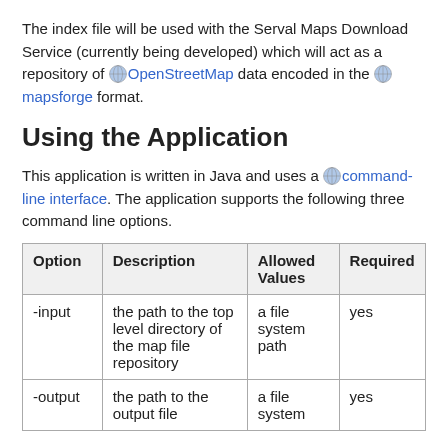The index file will be used with the Serval Maps Download Service (currently being developed) which will act as a repository of OpenStreetMap data encoded in the mapsforge format.
Using the Application
This application is written in Java and uses a command-line interface. The application supports the following three command line options.
| Option | Description | Allowed Values | Required |
| --- | --- | --- | --- |
| -input | the path to the top level directory of the map file repository | a file system path | yes |
| -output | the path to the output file | a file system | yes |